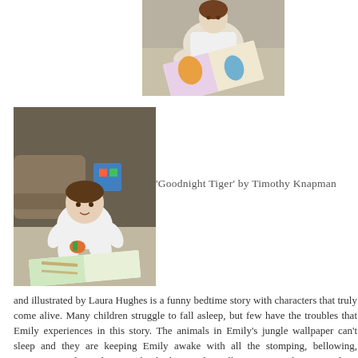[Figure (photo): Child holding open a large colorful picture book, seated on the floor]
[Figure (photo): Baby/toddler sitting on the floor looking at a large open picture book with jungle/animal illustrations]
'Goodnight Tiger' by Timothy Knapman
and illustrated by Laura Hughes is a funny bedtime story with characters that truly come alive. Many children struggle to fall asleep, but few have the troubles that Emily experiences in this story. The animals in Emily's jungle wallpaper can't sleep and they are keeping Emily awake with all the stomping, bellowing, trumpeting and growling. Emily climbs into the wallpaper to sort them out, taking them through her bedtime routine: bath, hot